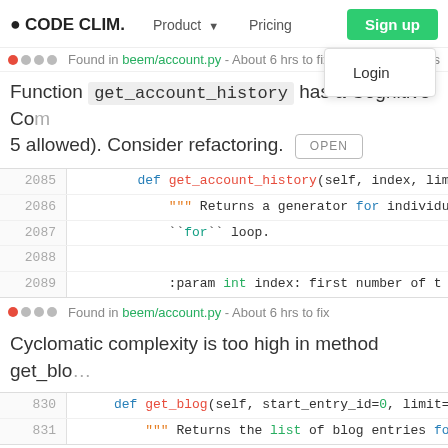CODE CLIM. | Product | Pricing | Sign up | Login
Found in beem/account.py - About 6 hrs to fix | Developers
Function get_account_history has a Cognitive Complexity of ... (5 allowed). Consider refactoring. OPEN
[Figure (screenshot): Code block showing Python function get_account_history lines 2085-2089]
Found in beem/account.py - About 6 hrs to fix
Cyclomatic complexity is too high in method get_blo...
[Figure (screenshot): Code block showing Python function get_blog lines 830-831]